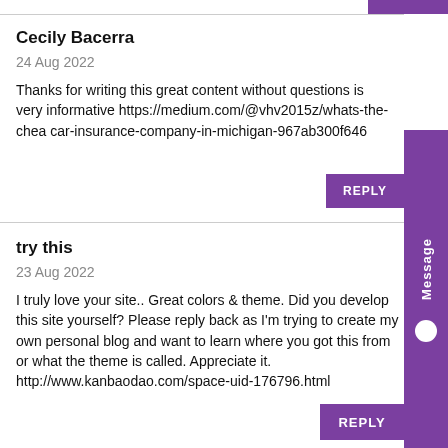Cecily Bacerra
24 Aug 2022
Thanks for writing this great content without questions is very informative https://medium.com/@vhv2015z/whats-the-chea car-insurance-company-in-michigan-967ab300f646
try this
23 Aug 2022
I truly love your site.. Great colors & theme. Did you develop this site yourself? Please reply back as I'm trying to create my own personal blog and want to learn where you got this from or what the theme is called. Appreciate it. http://www.kanbaodao.com/space-uid-176796.html